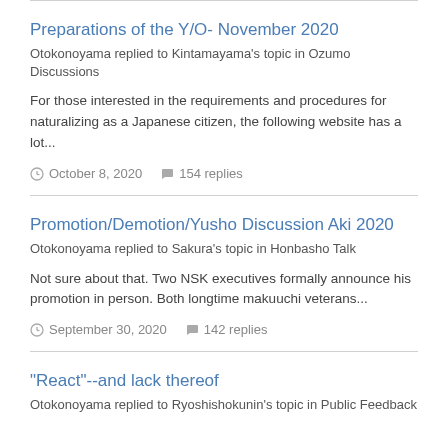Preparations of the Y/O- November 2020
Otokonoyama replied to Kintamayama's topic in Ozumo Discussions
For those interested in the requirements and procedures for naturalizing as a Japanese citizen, the following website has a lot...
October 8, 2020   154 replies
Promotion/Demotion/Yusho Discussion Aki 2020
Otokonoyama replied to Sakura's topic in Honbasho Talk
Not sure about that. Two NSK executives formally announce his promotion in person. Both longtime makuuchi veterans...
September 30, 2020   142 replies
"React"--and lack thereof
Otokonoyama replied to Ryoshishokunin's topic in Public Feedback